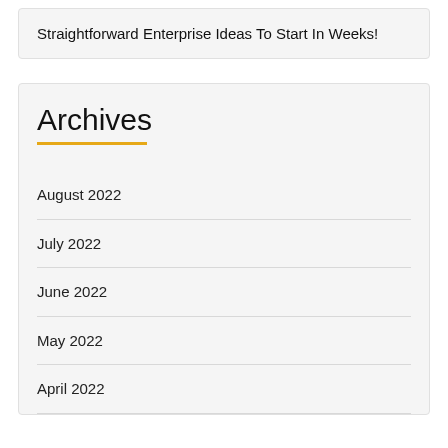Straightforward Enterprise Ideas To Start In Weeks!
Archives
August 2022
July 2022
June 2022
May 2022
April 2022